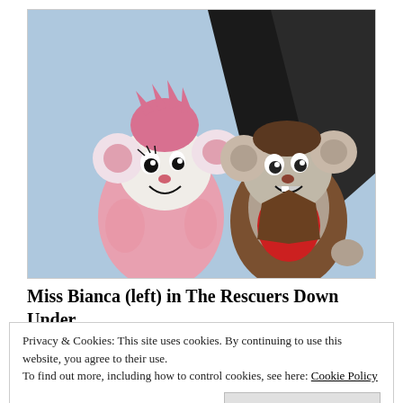[Figure (illustration): Cartoon illustration of two animated mice characters from The Rescuers Down Under. On the left is Miss Bianca, a white mouse with pink fluffy fur/hair, smiling. On the right is a gray mouse in a red shirt and brown jacket, looking surprised. Background is light blue.]
Miss Bianca (left) in The Rescuers Down Under (1990)
Privacy & Cookies: This site uses cookies. By continuing to use this website, you agree to their use.
To find out more, including how to control cookies, see here: Cookie Policy